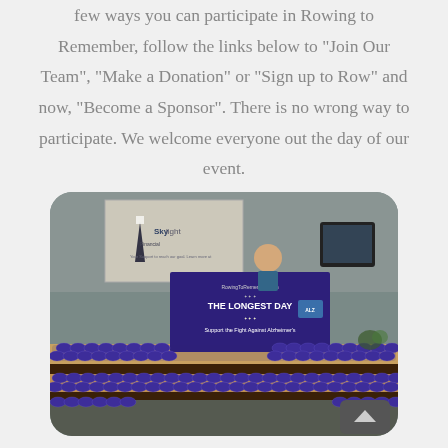few ways you can participate in Rowing to Remember, follow the links below to “Join Our Team”, “Make a Donation” or “Sign up to Row” and now, “Become a Sponsor”. There is no wrong way to participate. We welcome everyone out the day of our event.
[Figure (photo): A person standing behind a reception desk holding a large purple banner reading 'RowingToRemember.com - THE LONGEST DAY - Support the Fight Against Alzheimer’s'. The desk is covered with rows of purple cups/badges. A Skylight Financial projection screen is visible in the background.]